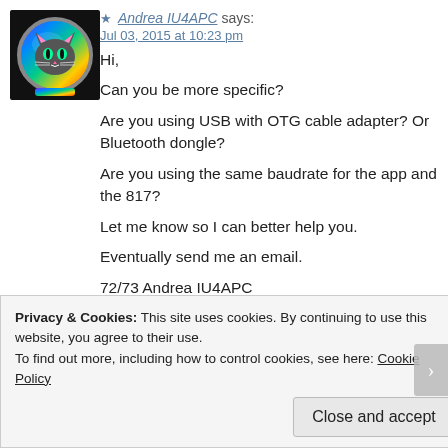[Figure (photo): Avatar image of a cat wearing a colorful astronaut helmet with rainbow colors]
★ Andrea IU4APC says:
Jul 03, 2015 at 10:23 pm
Hi,

Can you be more specific?

Are you using USB with OTG cable adapter? Or Bluetooth dongle?

Are you using the same baudrate for the app and the 817?

Let me know so I can better help you.

Eventually send me an email.

72/73 Andrea IU4APC
★ Like
Privacy & Cookies: This site uses cookies. By continuing to use this website, you agree to their use.
To find out more, including how to control cookies, see here: Cookie Policy

Close and accept